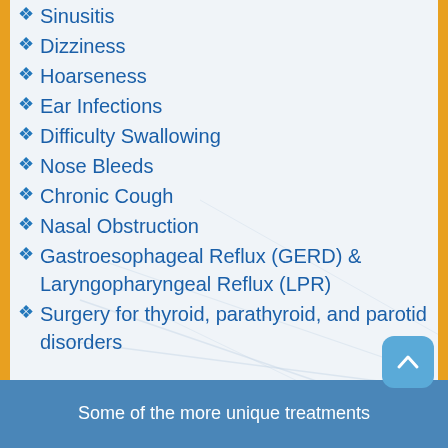Sinusitis
Dizziness
Hoarseness
Ear Infections
Difficulty Swallowing
Nose Bleeds
Chronic Cough
Nasal Obstruction
Gastroesophageal Reflux (GERD) & Laryngopharyngeal Reflux (LPR)
Surgery for thyroid, parathyroid, and parotid disorders
Some of the more unique treatments